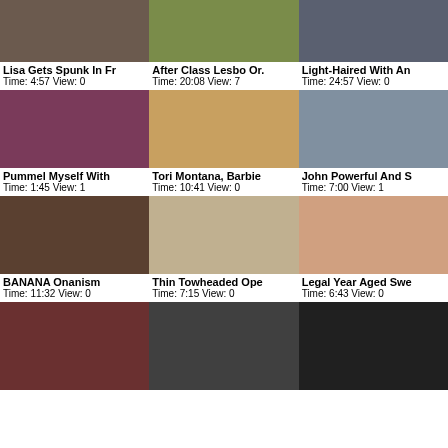[Figure (screenshot): Video thumbnail grid row 1 col 1]
Lisa Gets Spunk In Fr
Time: 4:57 View: 0
[Figure (screenshot): Video thumbnail grid row 1 col 2]
After Class Lesbo Or.
Time: 20:08 View: 7
[Figure (screenshot): Video thumbnail grid row 1 col 3]
Light-Haired With An
Time: 24:57 View: 0
[Figure (screenshot): Video thumbnail grid row 2 col 1]
Pummel Myself With
Time: 1:45 View: 1
[Figure (screenshot): Video thumbnail grid row 2 col 2]
Tori Montana, Barbie
Time: 10:41 View: 0
[Figure (screenshot): Video thumbnail grid row 2 col 3]
John Powerful And S
Time: 7:00 View: 1
[Figure (screenshot): Video thumbnail grid row 3 col 1]
BANANA Onanism
Time: 11:32 View: 0
[Figure (screenshot): Video thumbnail grid row 3 col 2]
Thin Towheaded Ope
Time: 7:15 View: 0
[Figure (screenshot): Video thumbnail grid row 3 col 3]
Legal Year Aged Swe
Time: 6:43 View: 0
[Figure (screenshot): Video thumbnail grid row 4 col 1]
[Figure (screenshot): Video thumbnail grid row 4 col 2]
[Figure (screenshot): Video thumbnail grid row 4 col 3]